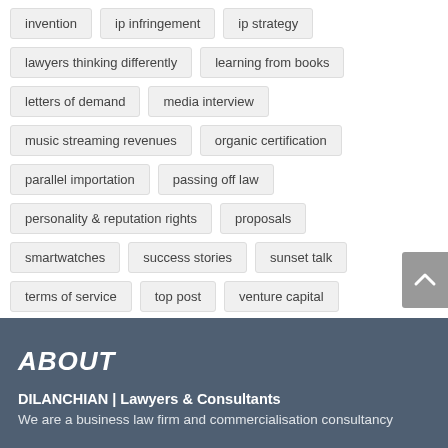invention
ip infringement
ip strategy
lawyers thinking differently
learning from books
letters of demand
media interview
music streaming revenues
organic certification
parallel importation
passing off law
personality & reputation rights
proposals
smartwatches
success stories
sunset talk
terms of service
top post
venture capital
YouTube
ABOUT
DILANCHIAN | Lawyers & Consultants
We are a business law firm and commercialisation consultancy